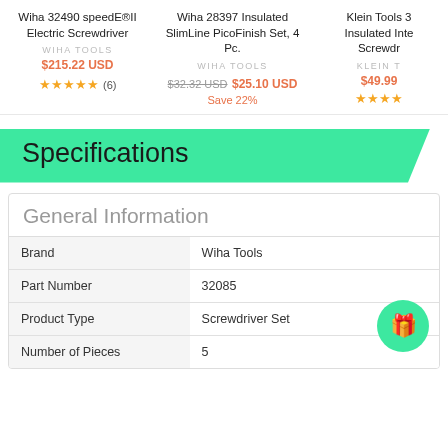Wiha 32490 speedE®II Electric Screwdriver
WIHA TOOLS
$215.22 USD
★★★★★ (6)
Wiha 28397 Insulated SlimLine PicoFinish Set, 4 Pc.
WIHA TOOLS
$32.32 USD  $25.10 USD  Save 22%
Klein Tools 3 Insulated Inte Screwdr
KLEIN T
$49.99
Specifications
|  |  |
| --- | --- |
| Brand | Wiha Tools |
| Part Number | 32085 |
| Product Type | Screwdriver Set |
| Number of Pieces | 5 |